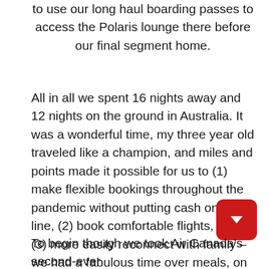to use our long haul boarding passes to access the Polaris lounge there before our final segment home.
All in all we spent 16 nights away and 12 nights on the ground in Australia. It was a wonderful time, my three year old traveled like a champion, and miles and points made it possible for us to (1) make flexible bookings throughout the pandemic without putting cash on the line, (2) book comfortable flights, and (3) more easily reconnect with family – we had a fabulous time over meals, on Sydney Harbor, at the Taronga Zoo but most of all just spending time together. And we've got plans to meet up with part of the family again later this year in Hawaii.
To begin though we took Air Canada's second-ever